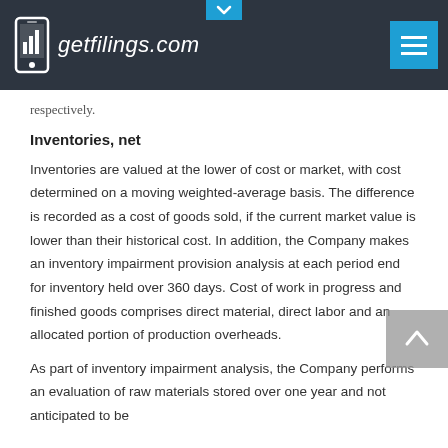getfilings.com
respectively.
Inventories, net
Inventories are valued at the lower of cost or market, with cost determined on a moving weighted-average basis. The difference is recorded as a cost of goods sold, if the current market value is lower than their historical cost. In addition, the Company makes an inventory impairment provision analysis at each period end for inventory held over 360 days. Cost of work in progress and finished goods comprises direct material, direct labor and an allocated portion of production overheads.
As part of inventory impairment analysis, the Company performs an evaluation of raw materials stored over one year and not anticipated to be